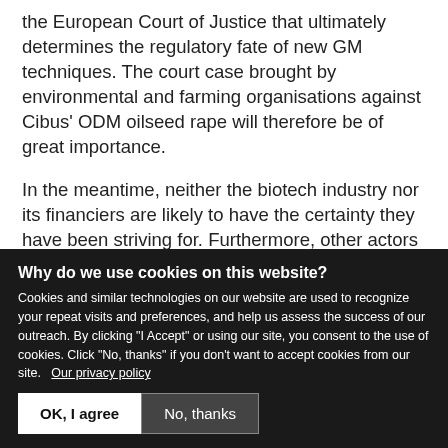the European Court of Justice that ultimately determines the regulatory fate of new GM techniques. The court case brought by environmental and farming organisations against Cibus' ODM oilseed rape will therefore be of great importance.
In the meantime, neither the biotech industry nor its financiers are likely to have the certainty they have been striving for. Furthermore, other actors may still come into play. Food distributors may demand direct [...]
Why do we use cookies on this website?
Cookies and similar technologies on our website are used to recognize your repeat visits and preferences, and help us assess the success of our outreach. By clicking "I Accept" or using our site, you consent to the use of cookies. Click "No, thanks" if you don't want to accept cookies from our site. Our privacy policy